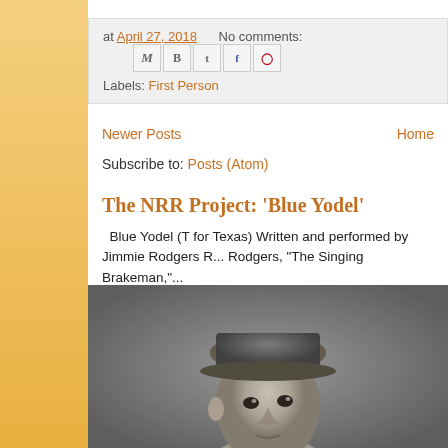at April 27, 2018   No comments:
Labels: First Person
Newer Posts   Home
Subscribe to: Posts (Atom)
The NRR Project: 'Blue Yodel'
Blue Yodel (T for Texas) Written and performed by Jimmie Rodgers R... Rodgers, "The Singing Brakeman,"...
[Figure (photo): Black and white photograph of a man wearing a cap, looking slightly to the side, portrait style]